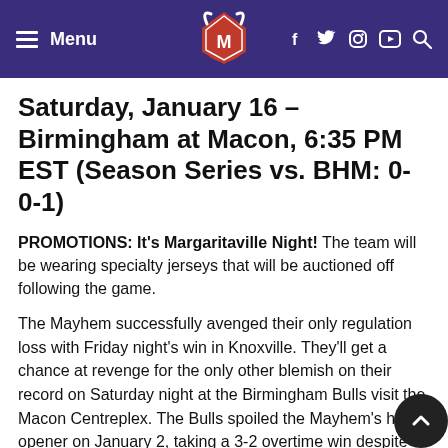Menu [logo] f y Instagram YouTube Search
Saturday, January 16 – Birmingham at Macon, 6:35 PM EST (Season Series vs. BHM: 0-0-1)
PROMOTIONS: It's Margaritaville Night! The team will be wearing specialty jerseys that will be auctioned off following the game.
The Mayhem successfully avenged their only regulation loss with Friday night's win in Knoxville. They'll get a chance at revenge for the only other blemish on their record on Saturday night at the Birmingham Bulls visit the Macon Centreplex. The Bulls spoiled the Mayhem's home opener on January 2, taking a 3-2 overtime win despite Macon doubling up Birmingham in shots 42-21 in the game. The Bulls only played one game last we